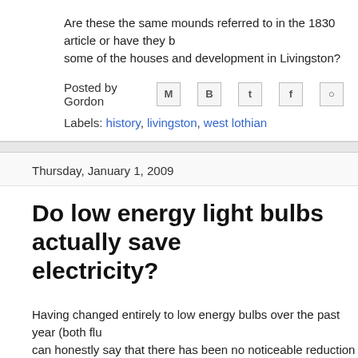Are these the same mounds referred to in the 1830 article or have they b... some of the houses and development in Livingston?
Posted by Gordon
Labels: history, livingston, west lothian
Thursday, January 1, 2009
Do low energy light bulbs actually save electricity?
Having changed entirely to low energy bulbs over the past year (both flu... can honestly say that there has been no noticeable reduction in energy u...
The two reasons for this are:
My house has about 20 lights in it. At an average of 60w per bulb... is only 1.2 Kw. My shower is 7 Kw and my oven is 4 Kw. My kettle...